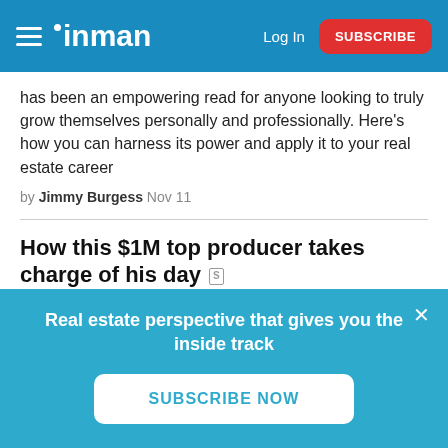inman — Log In | SUBSCRIBE
has been an empowering read for anyone looking to truly grow themselves personally and professionally. Here's how you can harness its power and apply it to your real estate career
by Jimmy Burgess Nov 11
How this $1M top producer takes charge of his day
If you don't own your time, you'll never be able to operate at your highest potential. How do the most successful real estate pros approach their day? Here's what this million-dollar top producer does, hour by hour
by Jimmy Burgess Nov 12
Real estate perspective that gives you the inside track
SUBSCRIBE NOW